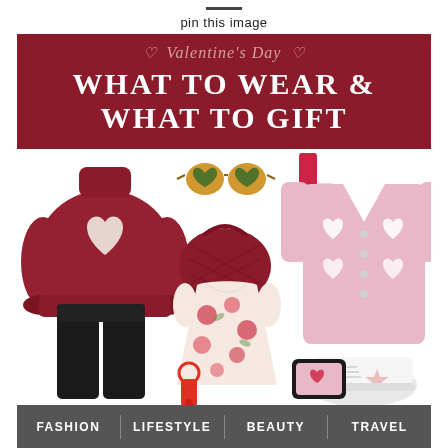pin this image
Valentine's Day WHAT TO WEAR & WHAT TO GIFT
[Figure (photo): Fashion collage showing Valentine's Day outfit and gift items: red heart sweater, black pants, red bag, heart sunglasses, lipstick, pink heart cardigan, white sneakers, floral dress, keychain, and phone case]
FASHION | LIFESTYLE | BEAUTY | TRAVEL